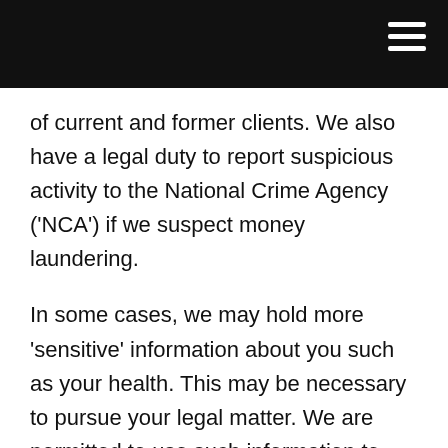of current and former clients. We also have a legal duty to report suspicious activity to the National Crime Agency ('NCA') if we suspect money laundering.
In some cases, we may hold more 'sensitive' information about you such as your health. This may be necessary to pursue your legal matter. We are permitted to use such information to provide legal advice to you or in connection with equality legislation. You can withdraw consent to your information being used in a particular way but this may limit what more we can do for you.